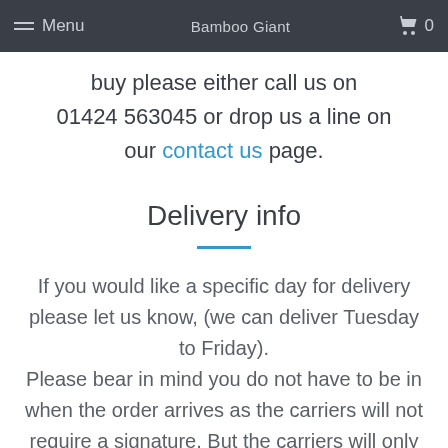Menu  Bamboo Giant  0
buy please either call us on 01424 563045 or drop us a line on our contact us page.
Delivery info
If you would like a specific day for delivery please let us know, (we can deliver Tuesday to Friday). Please bear in mind you do not have to be in when the order arrives as the carriers will not require a signature. But the carriers will only leave the order at